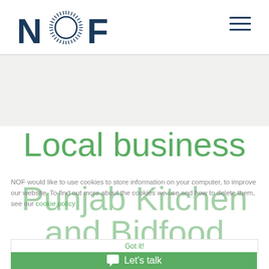[Figure (logo): NOF logo with sunburst O in dark navy blue]
Local business
Punjab Kitchen and Bidfood
NOF would like to use cookies to store information on your computer, to improve our website. To find out more about the cookies we use and how to delete them, see our cookie policy
Got it!
Let's talk